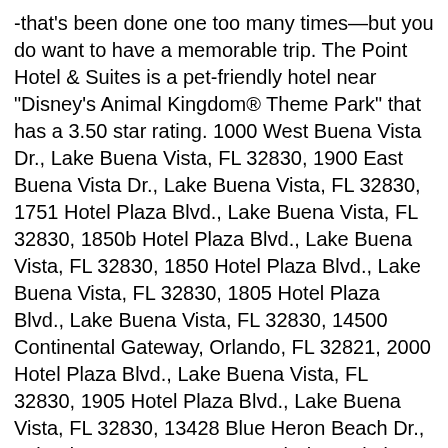-that's been done one too many times—but you do want to have a memorable trip. The Point Hotel & Suites is a pet-friendly hotel near "Disney's Animal Kingdom® Theme Park" that has a 3.50 star rating. 1000 West Buena Vista Dr., Lake Buena Vista, FL 32830, 1900 East Buena Vista Dr., Lake Buena Vista, FL 32830, 1751 Hotel Plaza Blvd., Lake Buena Vista, FL 32830, 1850b Hotel Plaza Blvd., Lake Buena Vista, FL 32830, 1850 Hotel Plaza Blvd., Lake Buena Vista, FL 32830, 1805 Hotel Plaza Blvd., Lake Buena Vista, FL 32830, 14500 Continental Gateway, Orlando, FL 32821, 2000 Hotel Plaza Blvd., Lake Buena Vista, FL 32830, 1905 Hotel Plaza Blvd., Lake Buena Vista, FL 32830, 13428 Blue Heron Beach Dr., Orlando, FL 32821, 2305 Hotel Plaza Blvd., Lake Buena Vista, FL 32830, 9560 Via Encinas, Lake Buena Vista, FL 32830, 9562 Via Encinas, Lake Buena Vista, FL 32830, 14200 Bonnet Creek Resort Lane, Orlando, FL 32821, Disney's Coronado Springs Resort in Lake Buena Vista, Hilton Orlando Buena Vista Palace Disney Springs Area in Lake Buena Vista. 1900 East Buena Vista Dr., Lake Buena Vista, FL 32830